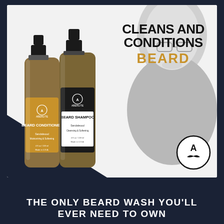[Figure (photo): Product advertisement for Aberlite Beard Conditioner and Beard Shampoo. Two bottles (golden label Beard Conditioner on left, black label Beard Shampoo on right) are shown against a white background with a faded man with a full beard on the right side. Text reads 'CLEANS AND CONDITIONS BEARD' with Aberlite logo circle in bottom right of the image. Sandalwood scent, Cleansing & Softening, 4 fl oz / 118 ml, Made in U.S.A.]
THE ONLY BEARD WASH YOU'LL EVER NEED TO OWN